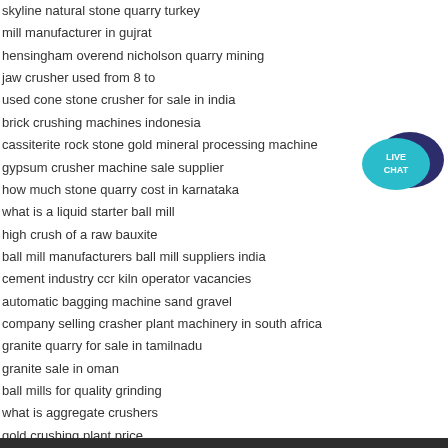skyline natural stone quarry turkey
mill manufacturer in gujrat
hensingham overend nicholson quarry mining
jaw crusher used from 8 to
used cone stone crusher for sale in india
brick crushing machines indonesia
cassiterite rock stone gold mineral processing machine
gypsum crusher machine sale supplier
how much stone quarry cost in karnataka
what is a liquid starter ball mill
high crush of a raw bauxite
ball mill manufacturers ball mill suppliers india
cement industry ccr kiln operator vacancies
automatic bagging machine sand gravel
company selling crasher plant machinery in south africa
granite quarry for sale in tamilnadu
granite sale in oman
ball mills for quality grinding
what is aggregate crushers
gold crushing plant price
[Figure (illustration): Live Chat widget with teal speech bubble containing 'LIVE CHAT' text in white, and a dark blue/navy larger speech bubble behind it]